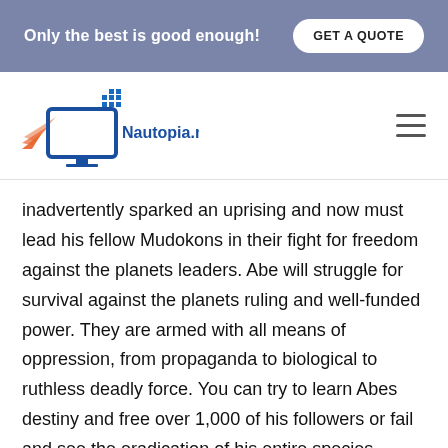Only the best is good enough!  GET A QUOTE
[Figure (logo): Nautopia.net logo with monitor icon and navigation hamburger menu]
inadvertently sparked an uprising and now must lead his fellow Mudokons in their fight for freedom against the planets leaders. Abe will struggle for survival against the planets ruling and well-funded power. They are armed with all means of oppression, from propaganda to biological to ruthless deadly force. You can try to learn Abes destiny and free over 1,000 of his followers or fail and see the eradication of his entire species. Explore massive cinematic scale and 2.9D environments filled with breathtaking visuals. Scavenge for supplies, craft weapons, arm your followers, solve puzzles, and safely deliver all of Abes 1,000 followers to freedom. Action Adventure Platformer Evolving the